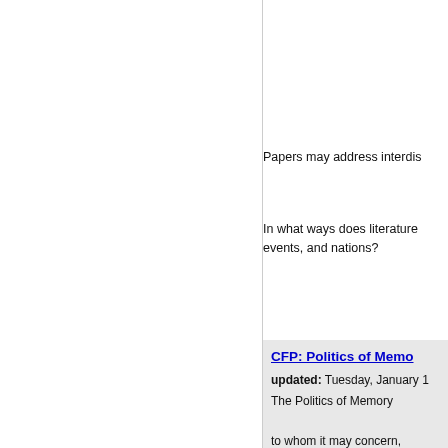Papers may address interdis
In what ways does literature events, and nations?
CFP: Politics of Memo
updated: Tuesday, January 1
The Politics of Memory
to whom it may concern,
   please forward the following
The Centre for Comparative invites abstracts for its 17th The Politics of Memory: